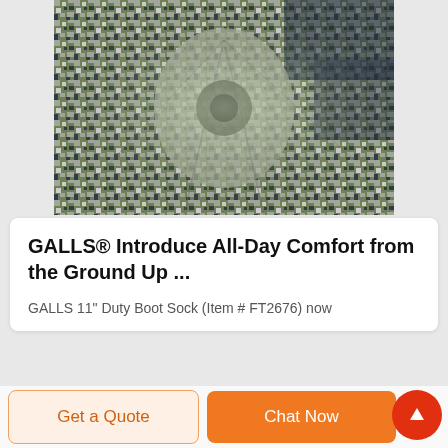[Figure (photo): Close-up photo of digital camouflage fabric in green, white, and navy/dark blue pixel pattern, folded and gathered in the center.]
GALLS® Introduce All-Day Comfort from the Ground Up ...
GALLS 11" Duty Boot Sock (Item # FT2676) now